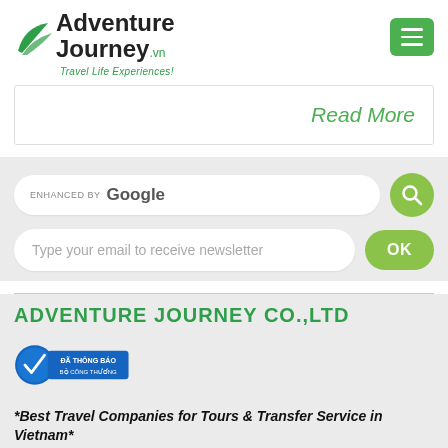[Figure (logo): Adventure Journey .vn logo with green wing/wave icon and tagline 'Travel Life Experiences!']
[Figure (other): Green hamburger menu button (three horizontal white lines on green rounded square)]
Read More
ENHANCED BY Google
[Figure (other): Green circular search button with magnifying glass icon]
Type your email to receive newsletter
[Figure (other): Green rounded OK button]
ADVENTURE JOURNEY CO.,LTD
[Figure (logo): Da Thong Bao Bo Cong Thuong badge - blue circular badge with checkmark and Vietnamese text]
*Best Travel Companies for Tours & Transfer Service in Vietnam*